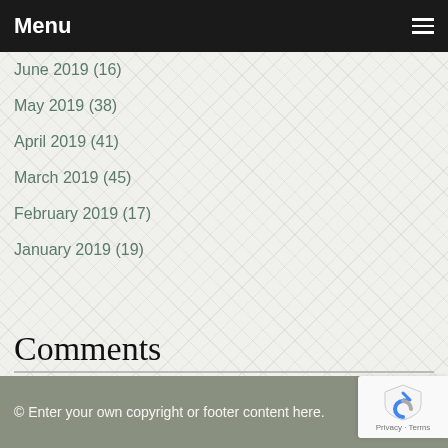Menu
June 2019 (16)
May 2019 (38)
April 2019 (41)
March 2019 (45)
February 2019 (17)
January 2019 (19)
Comments
There are currently no blog comments.
© Enter your own copyright or footer content here.